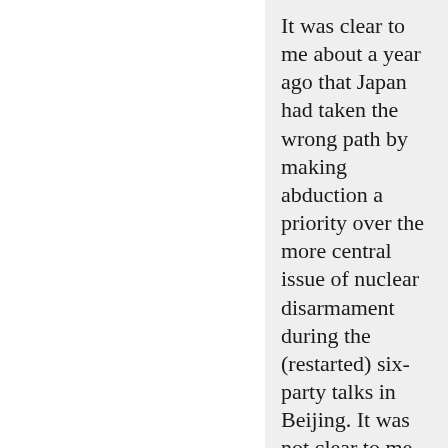It was clear to me about a year ago that Japan had taken the wrong path by making abduction a priority over the more central issue of nuclear disarmament during the (restarted) six-party talks in Beijing. It was not clear to me at the time that Shinzo Abe had made the political decision to raise the abduction issue over the disarmament issue as part of his bid for the succession to Koizumi. At the time of Koizumi\'s selection, I was hoping that